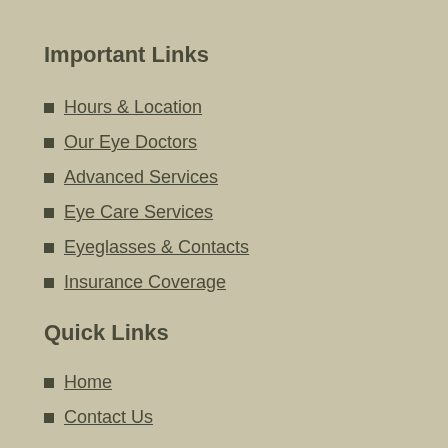Important Links
Hours & Location
Our Eye Doctors
Advanced Services
Eye Care Services
Eyeglasses & Contacts
Insurance Coverage
Quick Links
Home
Contact Us
What's New
Disclaimer